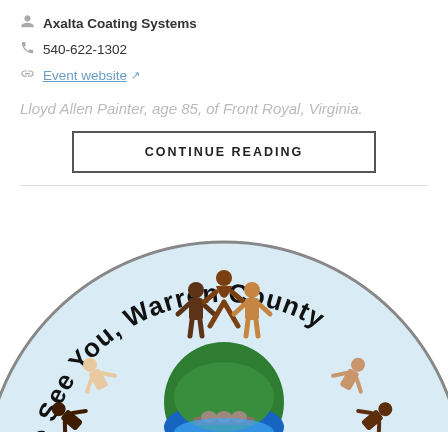Axalta Coating Systems
540-622-1302
Event website
Lloyd Allen Painter, age 85, of Front Royal, Virginia.
CONTINUE READING
[Figure (logo): Circular logo with light blue background showing diverse paper-doll figures holding hands in a circle around a central landscape image of a bridge and green hills. Text around the top reads 'We See You, Warren County']